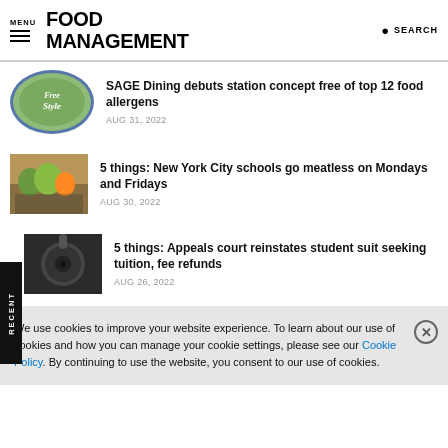MENU | FOOD MANAGEMENT | SEARCH
SAGE Dining debuts station concept free of top 12 food allergens
AUG 31, 2022
5 things: New York City schools go meatless on Mondays and Fridays
AUG 30, 2022
5 things: Appeals court reinstates student suit seeking tuition, fee refunds
AUG 26, 2022
We use cookies to improve your website experience. To learn about our use of cookies and how you can manage your cookie settings, please see our Cookie Policy. By continuing to use the website, you consent to our use of cookies.